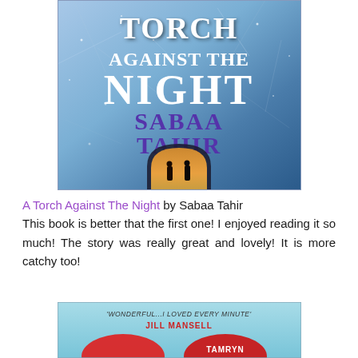[Figure (illustration): Book cover of 'A Torch Against The Night' by Sabaa Tahir — dark blue cracked stone/ice texture background, large white bold title text 'TORCH AGAINST THE NIGHT', purple author name 'SABAA TAHIR', silhouettes of two figures standing in an arched tunnel with warm golden light]
A Torch Against The Night by Sabaa Tahir
This book is better that the first one! I enjoyed reading it so much! The story was really great and lovely! It is more catchy too!
[Figure (illustration): Partial book cover showing a light blue background with text 'WONDERFUL...I LOVED EVERY MINUTE' and 'JILL MANSELL' in red, and red circular/lip-like shapes at the bottom, and partial text 'TAMRYN']